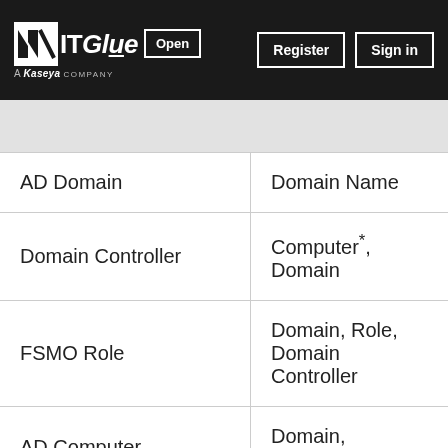IT Glue Open | Register | Sign in — a Kaseya COMPANY
|  |  |
| --- | --- |
| AD Domain | Domain Name |
| Domain Controller | Computer*, Domain |
| FSMO Role | Domain, Role, Domain Controller |
| AD Computer | Domain, Configuration |
| AD User | Domain, Username |